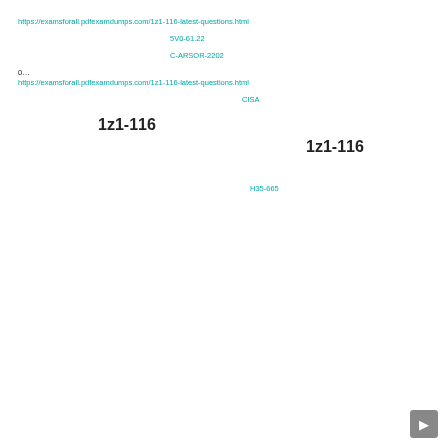【Japanese CJK text】https://examsforall.pdfexamdumps.com/1z1-116-latest-questions.html【Japanese CJK text】
【Japanese CJK text】5V0-61.22【CJK】【Japanese CJK text】
【Japanese CJK text】C-ARSOR-2202【CJK】【Japanese CJK text】
0…【CJK text】 【CJK】https://examsforall.pdfexamdumps.com/1z1-116-latest-questions.html【Japanese CJK text】
【Japanese CJK text】CISA【CJK】【Japanese CJK text】
【CJK】1z1-116 【CJK】1z1-116 【CJK】
【Japanese CJK text】H35-665【CJK】【Japanese CJK text】